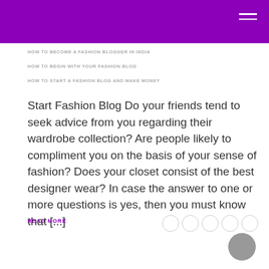HOW TO BECOME A FASHION BLOGGER IN INDIA
HOW TO BEGIN WITH YOUR FASHION BLOG
HOW TO START A FASHION BLOG AND MAKE MONEY
Start Fashion Blog Do your friends tend to seek advice from you regarding their wardrobe collection? Are people likely to compliment you on the basis of your sense of fashion? Does your closet consist of the best designer wear? In case the answer to one or more questions is yes, then you must know that [...]
READ MORE